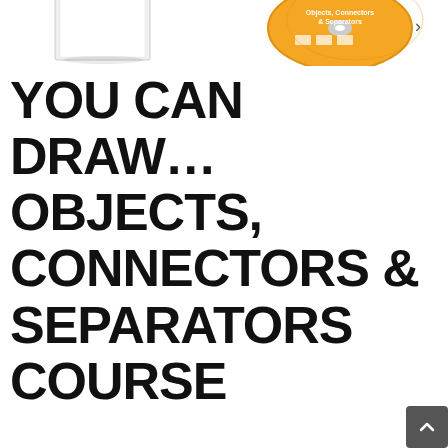[Figure (illustration): Partial view of course materials including a book/document and a CD/DVD disc with orange label showing 'Objects, Connectors & Separators']
YOU CAN DRAW... OBJECTS, CONNECTORS & SEPARATORS COURSE